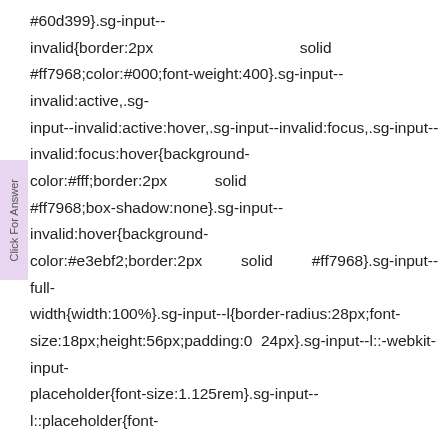#60d399}.sg-input--invalid{border:2px solid #ff7968;color:#000;font-weight:400}.sg-input--invalid:active,.sg-input--invalid:active:hover,.sg-input--invalid:focus,.sg-input--invalid:focus:hover{background-color:#fff;border:2px solid #ff7968;box-shadow:none}.sg-input--invalid:hover{background-color:#e3ebf2;border:2px solid #ff7968}.sg-input--full-width{width:100%}.sg-input--l{border-radius:28px;font-size:18px;height:56px;padding:0 24px}.sg-input--l::-webkit-input-placeholder{font-size:1.125rem}.sg-input--l::placeholder{font-size:1.125rem}.sg-input--with-icon{padding-right:40px}.sg-input__wrapper{display:inline-block;max-width:-webkit-min-content;max-width:min-content}.sg-input__wrapper--full-width{max-width:100%;width:100%}em.sg-text{font-style:normal}blockquote.sg-text{margin:0}.sg-text{color:#000;font-family:ProximaNova,Helvetica,Arial,sans-serif;font-size:18px;font-